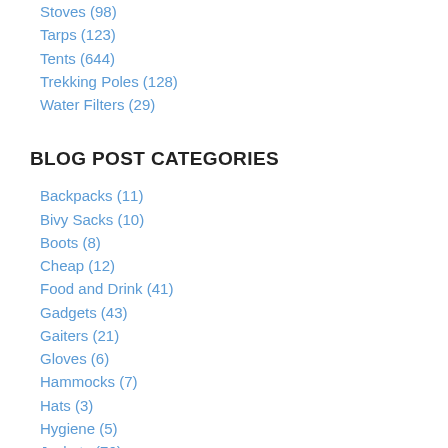Stoves (98)
Tarps (123)
Tents (644)
Trekking Poles (128)
Water Filters (29)
BLOG POST CATEGORIES
Backpacks (11)
Bivy Sacks (10)
Boots (8)
Cheap (12)
Food and Drink (41)
Gadgets (43)
Gaiters (21)
Gloves (6)
Hammocks (7)
Hats (3)
Hygiene (5)
Jackets (76)
Knives (9)
Lighting (21)
Pants (10)
Pots and Pans (12)